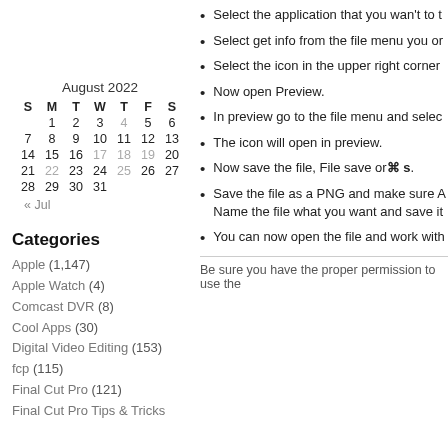Select the application that you wan't to t
Select get info from the file menu you or
Select the icon in the upper right corner
Now open Preview.
In preview go to the file menu and selec
The icon will open in preview.
Now save the file, File save or ⌘ s.
Save the file as a PNG and make sure A Name the file what you want and save it
You can now open the file and work with
Be sure you have the proper permission to use the
| S | M | T | W | T | F | S |
| --- | --- | --- | --- | --- | --- | --- |
|  | 1 | 2 | 3 | 4 | 5 | 6 |
| 7 | 8 | 9 | 10 | 11 | 12 | 13 |
| 14 | 15 | 16 | 17 | 18 | 19 | 20 |
| 21 | 22 | 23 | 24 | 25 | 26 | 27 |
| 28 | 29 | 30 | 31 |  |  |  |
Categories
Apple (1,147)
Apple Watch (4)
Comcast DVR (8)
Cool Apps (30)
Digital Video Editing (153)
fcp (115)
Final Cut Pro (121)
Final Cut Pro Tips & Tricks